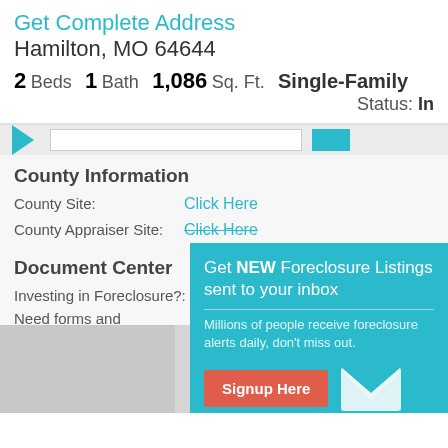Get Complete Address Hamilton, MO 64644
2 Beds  1 Bath  1,086 Sq. Ft.  Single-Family  Status: In
County Information
County Site: Click Here
County Appraiser Site: Click Here
Document Center
Investing in Foreclosure?:
Need forms and contracts?:
[Figure (infographic): Popup modal with teal background promoting foreclosure listing alerts. Contains title 'Get NEW Foreclosure Listings sent to your inbox', description text, red Signup Here button, envelope icon, and footer links 'No Thanks | Remind Me Later'.]